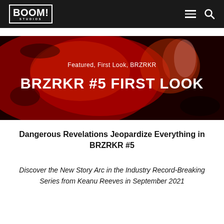BOOM! STUDIOS — Navigation bar with logo, menu, and search icons
BRZRKR #5 FIRST LOOK
Featured, First Look, BRZRKR
Dangerous Revelations Jeopardize Everything in BRZRKR #5
Discover the New Story Arc in the Industry Record-Breaking Series from Keanu Reeves in September 2021